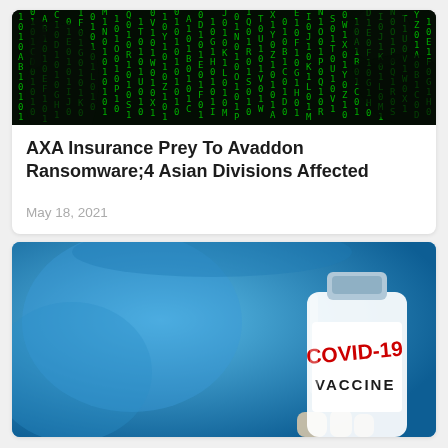[Figure (photo): Dark hacker cyber background with green matrix code and a hand silhouette]
AXA Insurance Prey To Avaddon Ransomware;4 Asian Divisions Affected
May 18, 2021
[Figure (photo): A COVID-19 vaccine vial being held against a blue background]